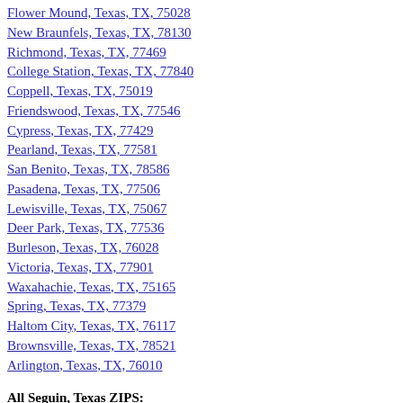Flower Mound, Texas, TX, 75028
New Braunfels, Texas, TX, 78130
Richmond, Texas, TX, 77469
College Station, Texas, TX, 77840
Coppell, Texas, TX, 75019
Friendswood, Texas, TX, 77546
Cypress, Texas, TX, 77429
Pearland, Texas, TX, 77581
San Benito, Texas, TX, 78586
Pasadena, Texas, TX, 77506
Lewisville, Texas, TX, 75067
Deer Park, Texas, TX, 77536
Burleson, Texas, TX, 76028
Victoria, Texas, TX, 77901
Waxahachie, Texas, TX, 75165
Spring, Texas, TX, 77379
Haltom City, Texas, TX, 76117
Brownsville, Texas, TX, 78521
Arlington, Texas, TX, 76010
All Seguin, Texas ZIPS:
78155
Last searches:
contact dating free online service in Seguin, TX